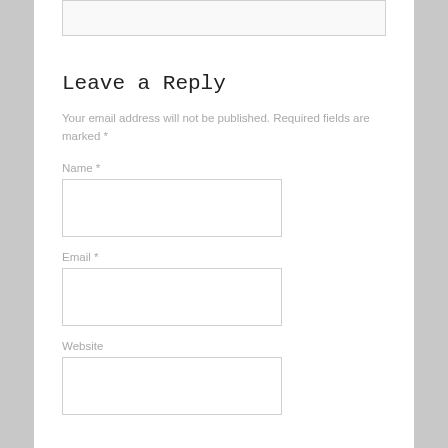Leave a Reply
Your email address will not be published. Required fields are marked *
Name *
Email *
Website